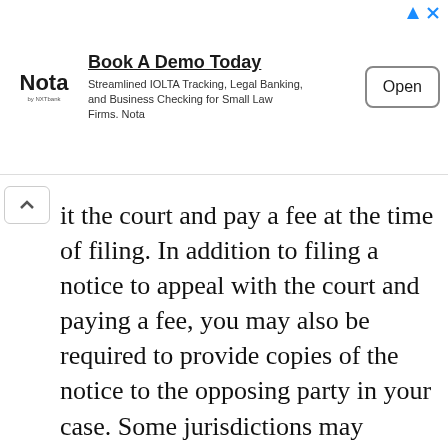[Figure (other): Advertisement banner for Nota (by NXTbank) with title 'Book A Demo Today', description 'Streamlined IOLTA Tracking, Legal Banking, and Business Checking for Small Law Firms. Nota', and an Open button.]
it the court and pay a fee at the time of filing. In addition to filing a notice to appeal with the court and paying a fee, you may also be required to provide copies of the notice to the opposing party in your case. Some jurisdictions may require you to give a copy to the judge who heard the original case as well.